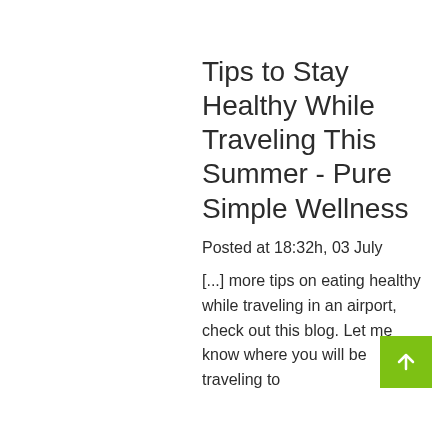Tips to Stay Healthy While Traveling This Summer - Pure Simple Wellness
Posted at 18:32h, 03 July
[...] more tips on eating healthy while traveling in an airport, check out this blog.  Let me know where you will be traveling to
[Figure (other): Green scroll-to-top button with white upward arrow icon, positioned at bottom right]